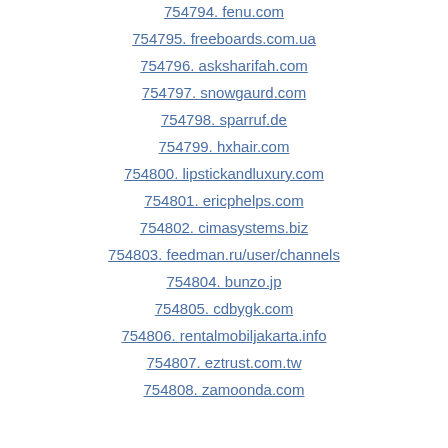754794. fenu.com
754795. freeboards.com.ua
754796. asksharifah.com
754797. snowgaurd.com
754798. sparruf.de
754799. hxhair.com
754800. lipstickandluxury.com
754801. ericphelps.com
754802. cimasystems.biz
754803. feedman.ru/user/channels
754804. bunzo.jp
754805. cdbygk.com
754806. rentalmobiljakarta.info
754807. eztrust.com.tw
754808. zamoonda.com